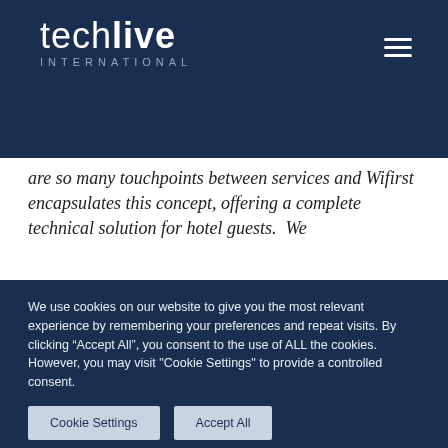[Figure (logo): Techlive International logo in white text on dark navy background]
are so many touchpoints between services and Wifirst encapsulates this concept, offering a complete technical solution for hotel guests.  We
We believe you that from managing with efficient skill to privacy and transparency.
We use cookies on our website to give you the most relevant experience by remembering your preferences and repeat visits. By clicking “Accept All”, you consent to the use of ALL the cookies. However, you may visit "Cookie Settings" to provide a controlled consent.